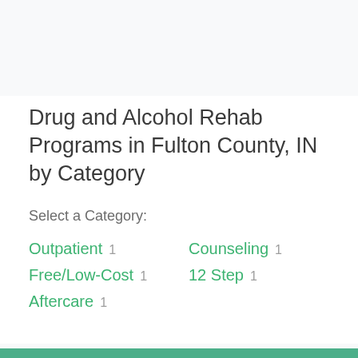Drug and Alcohol Rehab Programs in Fulton County, IN by Category
Select a Category:
Outpatient 1
Counseling 1
Free/Low-Cost 1
12 Step 1
Aftercare 1